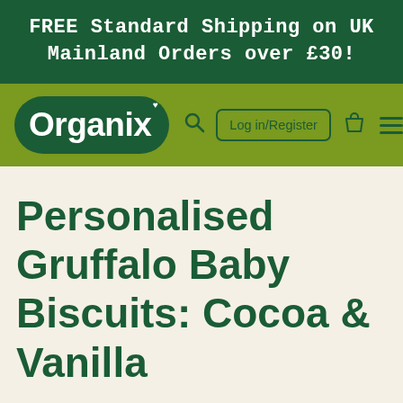FREE Standard Shipping on UK Mainland Orders over £30!
[Figure (logo): Organix brand logo in dark green rounded blob shape with white text, on olive green navigation bar. Includes search icon, Log in/Register button, bag icon, and hamburger menu.]
Personalised Gruffalo Baby Biscuits: Cocoa & Vanilla